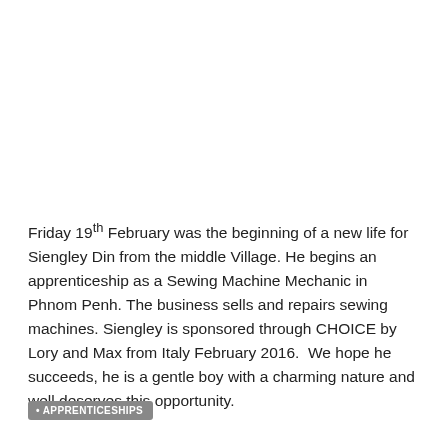Friday 19th February was the beginning of a new life for Siengley Din from the middle Village. He begins an apprenticeship as a Sewing Machine Mechanic in Phnom Penh. The business sells and repairs sewing machines. Siengley is sponsored through CHOICE by Lory and Max from Italy February 2016.  We hope he succeeds, he is a gentle boy with a charming nature and well deserves this opportunity.
• APPRENTICESHIPS